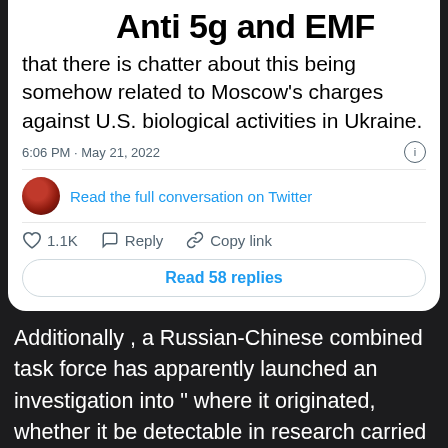Anti 5g and EMF
that there is chatter about this being somehow related to Moscow's charges against U.S. biological activities in Ukraine.
6:06 PM · May 21, 2022
Read the full conversation on Twitter
1.1K   Reply   Copy link
Read 58 replies
Additionally , a Russian-Chinese combined task force has apparently launched an investigation into " where it originated, whether it be detectable in research carried out by the US in Ukraine, Georgia; whether there is a link to biological research conducted with the US on smallpox within Ukraine,